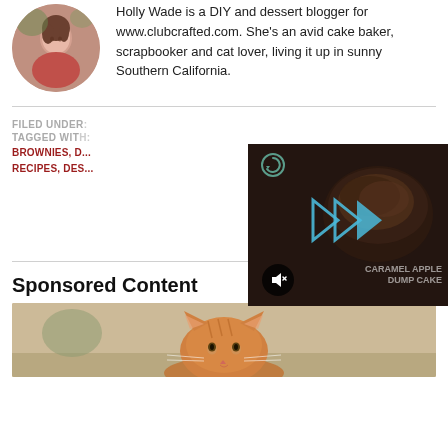[Figure (photo): Circular profile photo of a woman with dark hair wearing a pink/coral top]
Holly Wade is a DIY and dessert blogger for www.clubcrafted.com. She's an avid cake baker, scrapbooker and cat lover, living it up in sunny Southern California.
FILED UNDER: [partially obscured]
TAGGED WITH: BROWNIES, D... RECIPES, DES...
[Figure (screenshot): Video player overlay showing a dark food video with play button arrows, mute button, and text 'CARAMEL APPLE DUMP CAKE']
Sponsored Content
[Figure (photo): Photo of an orange tabby cat looking upward]